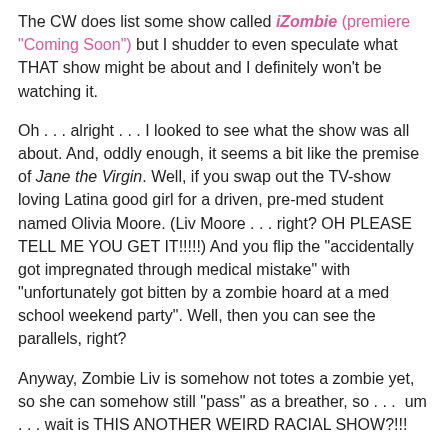The CW does list some show called iZombie (premiere "Coming Soon") but I shudder to even speculate what THAT show might be about and I definitely won't be watching it.
Oh . . . alright . . . I looked to see what the show was all about. And, oddly enough, it seems a bit like the premise of Jane the Virgin. Well, if you swap out the TV-show loving Latina good girl for a driven, pre-med student named Olivia Moore. (Liv Moore . . . right? OH PLEASE TELL ME YOU GET IT!!!!!) And you flip the "accidentally got impregnated through medical mistake" with "unfortunately got bitten by a zombie hoard at a med school weekend party". Well, then you can see the parallels, right?
Anyway, Zombie Liv is somehow not totes a zombie yet, so she can somehow still "pass" as a breather, so . . .  um . . . wait is THIS ANOTHER WEIRD RACIAL SHOW?!!!
No . . . calm down. I've already put WAY too much thought into this show that doesn't even have a premiere date. I just went down this road because I wanted to help fill out the post length because the number of shows to consider was so